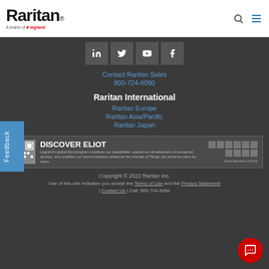[Figure (logo): Raritan logo with 'A brand of Legrand' tagline]
[Figure (infographic): Social media icons: LinkedIn, Twitter, YouTube, Facebook]
Contact Raritan Sales
800-724-8090
Raritan International
Raritan Europe
Raritan Asia/Pacific
Raritan Japan
[Figure (infographic): Discover Eliot banner - Legrand's global Eliot program mobilizes our capabilities, speeds our development of connected devices, and amplifies our communications wherever the Internet of Things can enhance value for users. www.legrand.us/Eliot]
Copyright © 2022 Raritan Inc. Use of this site indicates you accept the Terms of Use and the Privacy Statement | Contact Us | Call: 800 724-8090